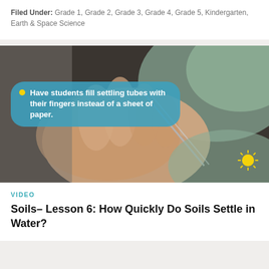Filed Under: Grade 1, Grade 2, Grade 3, Grade 4, Grade 5, Kindergarten, Earth & Space Science
[Figure (photo): A close-up photo of a child's hands holding a small tube, with a teal speech bubble overlay reading: 'Have students fill settling tubes with their fingers instead of a sheet of paper.' A yellow sun icon is in the bottom right corner.]
VIDEO
Soils– Lesson 6: How Quickly Do Soils Settle in Water?